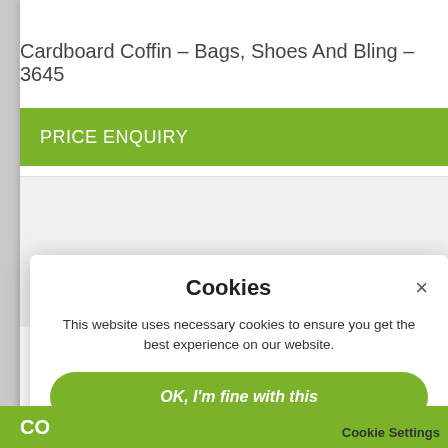Cardboard Coffin – Bags, Shoes And Bling – 3645
PRICE ENQUIRY
Cookies
This website uses necessary cookies to ensure you get the best experience on our website.
OK, I'm fine with this
Change Settings
CO    Cookie Settings